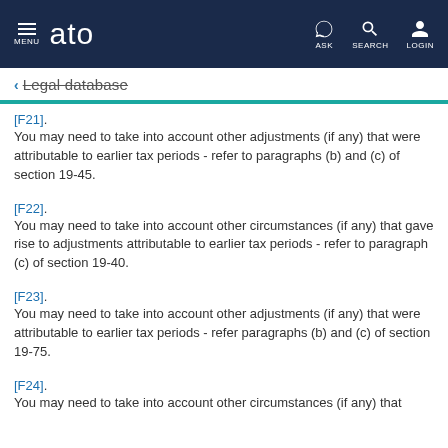MENU | ato | ASK | SEARCH | LOGIN
Legal database
[F21].
You may need to take into account other adjustments (if any) that were attributable to earlier tax periods - refer to paragraphs (b) and (c) of section 19-45.
[F22].
You may need to take into account other circumstances (if any) that gave rise to adjustments attributable to earlier tax periods - refer to paragraph (c) of section 19-40.
[F23].
You may need to take into account other adjustments (if any) that were attributable to earlier tax periods - refer paragraphs (b) and (c) of section 19-75.
[F24].
You may need to take into account other circumstances (if any) that